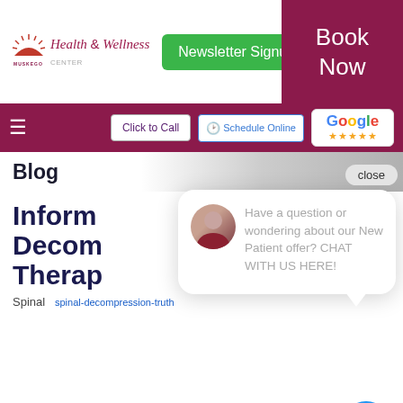[Figure (logo): Muskego Health & Wellness Center logo with sun graphic]
Newsletter Signup | Book Now
Click to Call | Schedule Online | Google reviews
Blog
Inform Decom Therap
Spinal   spinal-decompression-truth
Have a question or wondering about our New Patient offer? CHAT WITH US HERE!
close